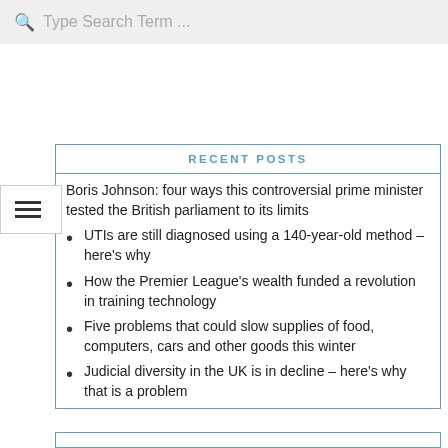Type Search Term ...
RECENT POSTS
Boris Johnson: four ways this controversial prime minister tested the British parliament to its limits
UTIs are still diagnosed using a 140-year-old method – here's why
How the Premier League's wealth funded a revolution in training technology
Five problems that could slow supplies of food, computers, cars and other goods this winter
Judicial diversity in the UK is in decline – here's why that is a problem